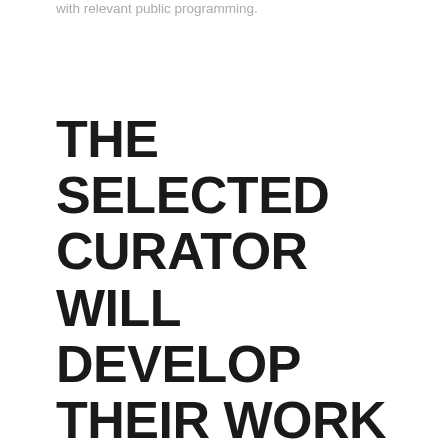with relevant public programming.
THE SELECTED CURATOR WILL DEVELOP THEIR WORK